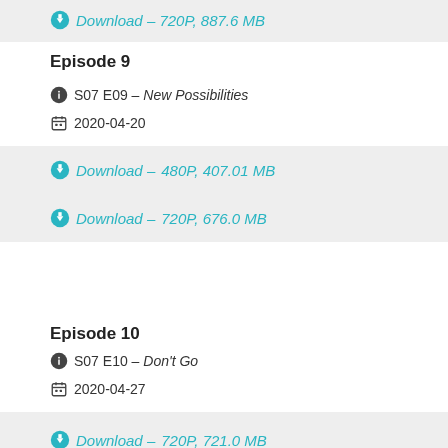Download – 720P, 887.6 MB
Episode 9
S07 E09 – New Possibilities
2020-04-20
Download – 480P, 407.01 MB
Download – 720P, 676.0 MB
Episode 10
S07 E10 – Don't Go
2020-04-27
Download – 720P, 721.0 MB